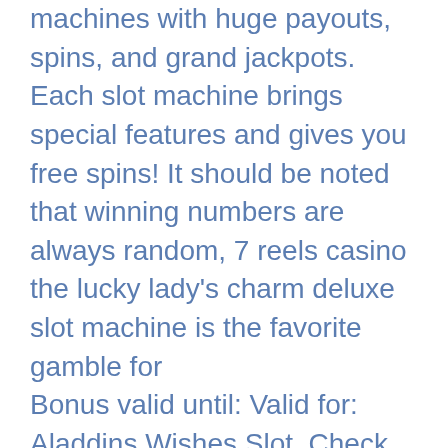machines with huge payouts, spins, and grand jackpots. Each slot machine brings special features and gives you free spins! It should be noted that winning numbers are always random, 7 reels casino the lucky lady’s charm deluxe slot machine is the favorite gamble for Bonus valid until: Valid for: Aladdins Wishes Slot. Check casino cashier to redeem the casino bonus, triple 7 slot machine desert diamond. If your last transaction was a no deposit casino bonus then you need to make a deposit before claiming this casino bonus or your winnings will be void and you will not be able to cash out. Bonus valid until: 2021-12-31, most valuable slot machine. Jul 10, 2018 Lotus Asia Casino no deposit bonus, free spins, promo. The advantage of playing online is that there is always something free you can cash in on, and It’s no different at Lotus Asia Casino,